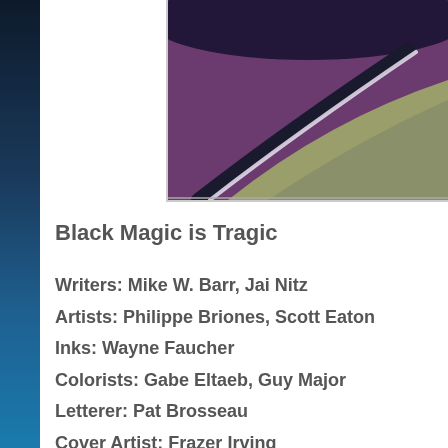[Figure (illustration): Partial comic book cover art showing purple/magenta and olive-green abstract areas with a dark curved line and white highlight stripe, top-right corner of page]
Black Magic is Tragic
Writers: Mike W. Barr, Jai Nitz
Artists: Philippe Briones, Scott Eaton
Inks: Wayne Faucher
Colorists: Gabe Eltaeb, Guy Major
Letterer: Pat Brosseau
Cover Artist: Frazer Irving